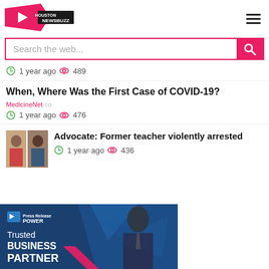[Figure (logo): Houston Newsbuzz logo with red play button and black banner]
[Figure (other): Hamburger menu icon (three horizontal lines)]
Search the web...
1 year ago  489
When, Where Was the First Case of COVID-19?
1 year ago  476
Advocate: Former teacher violently arrested
1 year ago  436
[Figure (photo): Two people portrait photos side by side]
[Figure (illustration): Press Release Power - Trusted Business Partner advertisement banner with blue background, geometric triangles, man in suit]